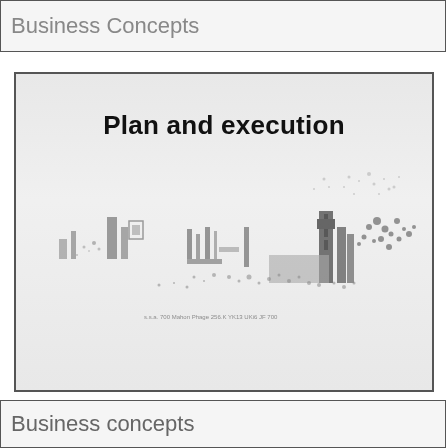Business Concepts
Plan and execution
[Figure (illustration): A faded, low-contrast illustration of a cityscape or urban scene with buildings and scattered dots/marks, centered in the lower portion of the main box. Caption text below reads something resembling a location or attribution line.]
Business concepts